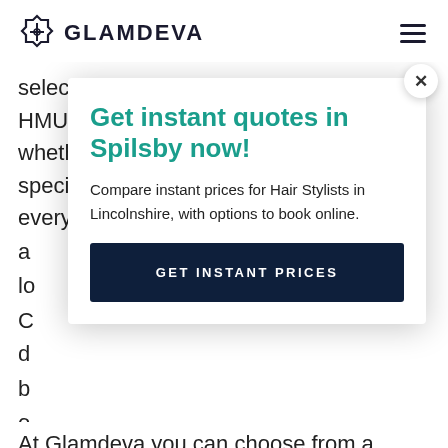GLAMDEVA
selection of providers offering on-demand HMUA services across Lincolnshire. So whether you’re looking for something special for a party or a whole new everyday hair a lo
[Figure (other): Modal dialog popup with close button (x), heading 'Get instant quotes in Spilsby now!', subtitle 'Compare instant prices for Hair Stylists in Lincolnshire, with options to book online.', and a dark navy button 'GET INSTANT PRICES']
At Glamdeva you can choose from a range of Party Hair &